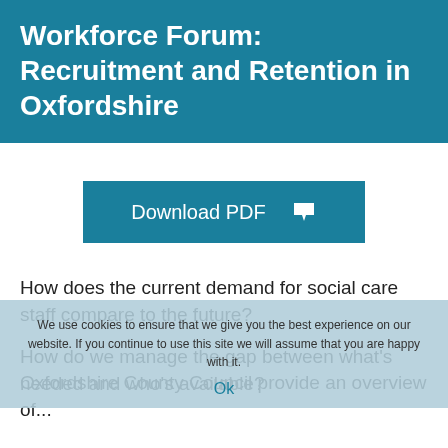Workforce Forum: Recruitment and Retention in Oxfordshire
[Figure (other): Download PDF button with teal background and downward arrow icon]
How does the current demand for social care staff compare to the future?
How do we manage the gap between what's needed and who's available?
We use cookies to ensure that we give you the best experience on our website. If you continue to use this site we will assume that you are happy with it.
Ok
Oxfordshire County Council provide an overview of...